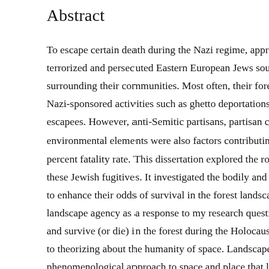Abstract
To escape certain death during the Nazi regime, approximately eighty thousand terrorized and persecuted Eastern European Jews sought refuge in the forests surrounding their communities. Most often, their forest deaths were the result of Nazi-sponsored activities such as ghetto deportations and hunts for Jewish escapees. However, anti-Semitic partisans, partisan combat, hostile peasants, and environmental elements were also factors contributing to an estimated ninety percent fatality rate. This dissertation explored the role and meaning of forests for these Jewish fugitives. It investigated the bodily and social practices they employed to enhance their odds of survival in the forest landscape. I develop the concept of landscape agency as a response to my research question: What was it like to live and survive (or die) in the forest during the Holocaust? Moreover, it is an approach to theorizing about the humanity of space. Landscape agency builds upon a phenomenological approach to space and place that links landscape and experience through bodily practices. This dissertation analyzed the fugitives' actions as functions of various forms of capital, namely economic, cultural and social. The sample included thirteen individuals who were themselves forest fugitives during the Holocaust. Face-face qualitative interviews were conducted from 2005 to 2006. Primary data from these interviews was used extensively to demonstrate the practices utilized in the fugitives' experiences with life and death in the forest. This study concluded that the odds of survival for forest fugitives were on